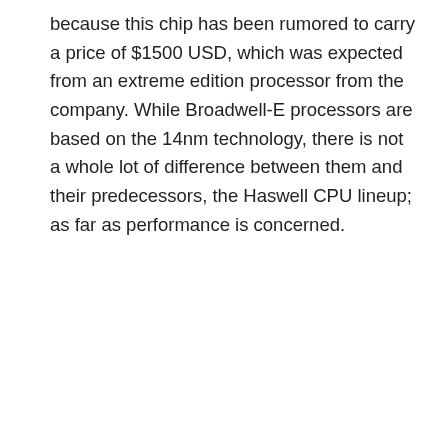because this chip has been rumored to carry a price of $1500 USD, which was expected from an extreme edition processor from the company. While Broadwell-E processors are based on the 14nm technology, there is not a whole lot of difference between them and their predecessors, the Haswell CPU lineup; as far as performance is concerned.